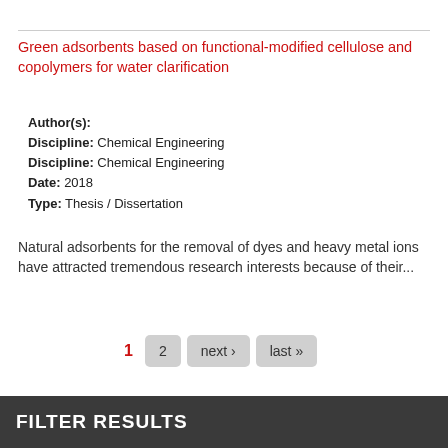Green adsorbents based on functional-modified cellulose and copolymers for water clarification
Author(s):
Discipline: Chemical Engineering
Discipline: Chemical Engineering
Date: 2018
Type: Thesis / Dissertation
Natural adsorbents for the removal of dyes and heavy metal ions have attracted tremendous research interests because of their...
1  2  next ›  last »
FILTER RESULTS